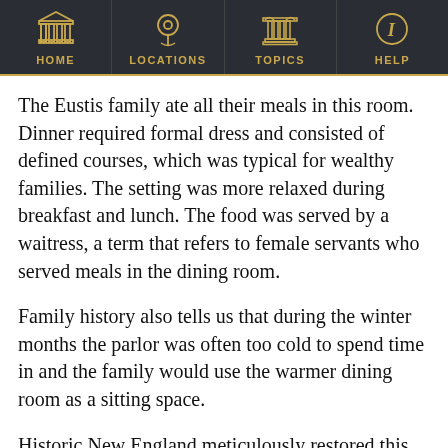HOME | LOCATIONS | TOPICS | HELP
The Eustis family ate all their meals in this room. Dinner required formal dress and consisted of defined courses, which was typical for wealthy families. The setting was more relaxed during breakfast and lunch. The food was served by a waitress, a term that refers to female servants who served meals in the dining room.
Family history also tells us that during the winter months the parlor was often too cold to spend time in and the family would use the warmer dining room as a sitting space.
Historic New England meticulously restored this room to its 1870s decorative scheme. Gold-colored paint applied to textured walls created a surface